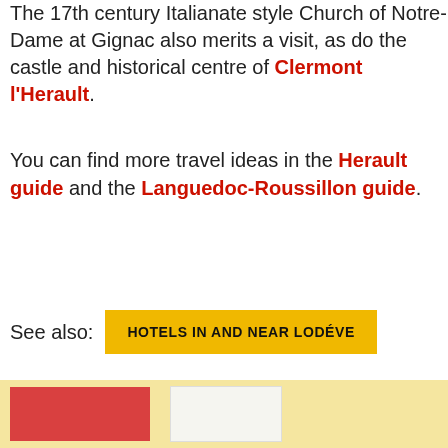The 17th century Italianate style Church of Notre-Dame at Gignac also merits a visit, as do the castle and historical centre of Clermont l'Herault.
You can find more travel ideas in the Herault guide and the Languedoc-Roussillon guide.
See also: HOTELS IN AND NEAR LODÈVE
Arrange a visit to Lodeve
[Figure (other): Yellow background area with a red box and a white/light box, partially visible at the bottom of the page]